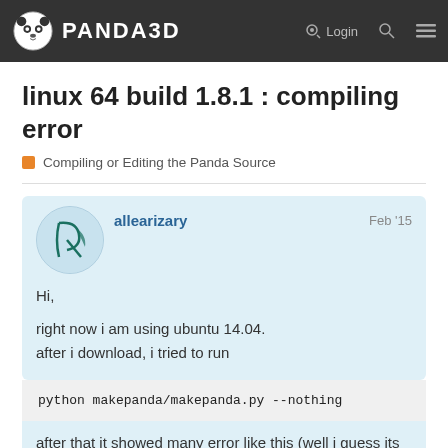PANDA3D  Login
linux 64 build 1.8.1 : compiling error
Compiling or Editing the Panda Source
allearizary  Feb '15
Hi,
right now i am using ubuntu 14.04.
after i download, i tried to run
after that it showed many error like this (well i guess its an error):